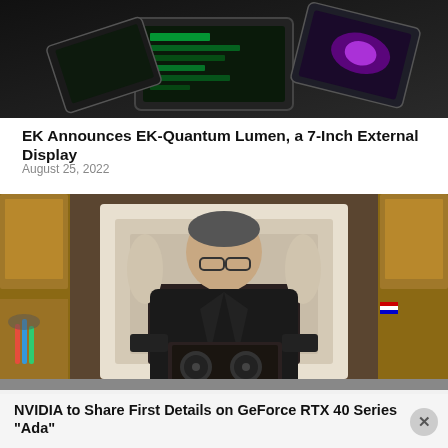[Figure (photo): Photo of PC hardware / EK external monitor display product on dark background]
EK Announces EK-Quantum Lumen, a 7-Inch External Display
August 25, 2022
[Figure (photo): Jensen Huang (NVIDIA CEO) holding GeForce RTX 40 Series graphics card in front of a fireplace in a kitchen]
NVIDIA to Share First Details on GeForce RTX 40 Series "Ada"